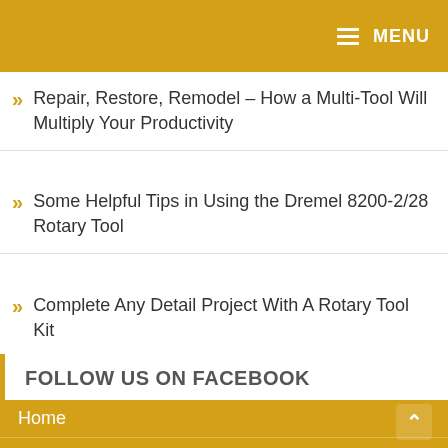MENU
Repair, Restore, Remodel – How a Multi-Tool Will Multiply Your Productivity
Some Helpful Tips in Using the Dremel 8200-2/28 Rotary Tool
Complete Any Detail Project With A Rotary Tool Kit
FOLLOW US ON FACEBOOK
Home
Tools
Rotary Tools